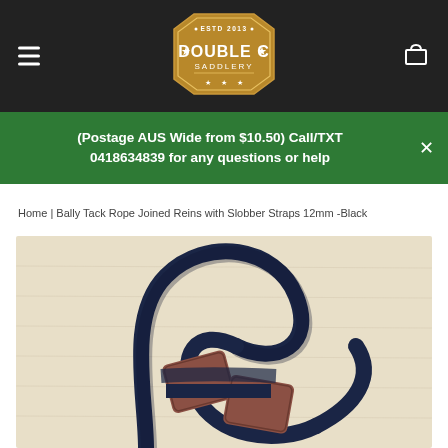[Figure (logo): Double C Saddlery logo — gold octagonal badge with stars, ESTD 2013 at top, DOUBLE C in large text, SADDLERY below, decorative stars at bottom]
(Postage AUS Wide from $10.50) Call/TXT 0418634839 for any questions or help
Home | Bally Tack Rope Joined Reins with Slobber Straps 12mm -Black
[Figure (photo): Close-up photo of a navy/dark blue rope with brown leather slobber straps lying on a cream/natural linen fabric background]